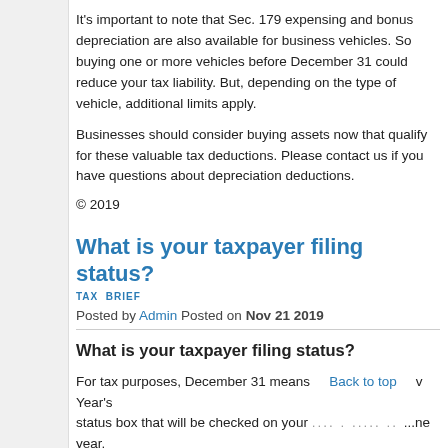It's important to note that Sec. 179 expensing and bonus depreciation are also available for business vehicles. So buying one or more vehicles before December 31 could reduce your tax liability. But, depending on the type of vehicle, additional limits may apply.
Businesses should consider buying assets now that qualify for these valuable tax deductions. Please contact us if you have questions about depreciation deductions.
© 2019
What is your taxpayer filing status?
TAX BRIEF
Posted by Admin Posted on Nov 21 2019
What is your taxpayer filing status?
For tax purposes, December 31 means more than just New Year's Eve. It's the status box that will be checked on your tax return for the entire year. You'll be filing with one of five filing statuses, which depend in part on whether you're married on December 31.
More than one filing status may apply, and you can use the one that's best for you. It's possible that your status options could change during the year.
Here are the filing statuses and who can claim them: